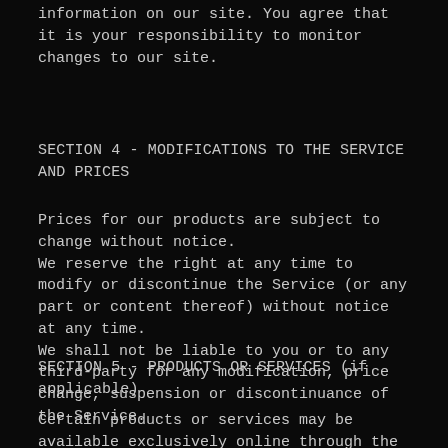information on our site. You agree that it is your responsibility to monitor changes to our site.
SECTION 4 - MODIFICATIONS TO THE SERVICE AND PRICES
Prices for our products are subject to change without notice.
We reserve the right at any time to modify or discontinue the Service (or any part or content thereof) without notice at any time.
We shall not be liable to you or to any third-party for any modification, price change, suspension or discontinuance of the Service.
SECTION 5 - PRODUCTS OR SERVICES (if applicable)
Certain products or services may be available exclusively online through the website. These